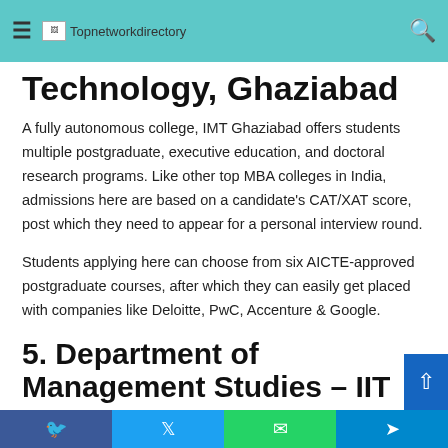4. Institute of Management Technology, Ghaziabad
Technology, Ghaziabad
A fully autonomous college, IMT Ghaziabad offers students multiple postgraduate, executive education, and doctoral research programs. Like other top MBA colleges in India, admissions here are based on a candidate's CAT/XAT score, post which they need to appear for a personal interview round.
Students applying here can choose from six AICTE-approved postgraduate courses, after which they can easily get placed with companies like Deloitte, PwC, Accenture & Google.
5. Department of Management Studies – IIT